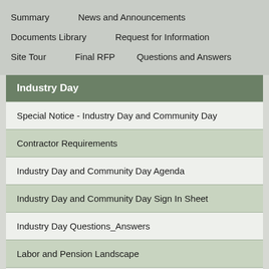Summary
News and Announcements
Documents Library
Request for Information
Site Tour
Final RFP
Questions and Answers
Industry Day
Special Notice - Industry Day and Community Day
Contractor Requirements
Industry Day and Community Day Agenda
Industry Day and Community Day Sign In Sheet
Industry Day Questions_Answers
Labor and Pension Landscape
Purpose of Industry Day and Community Day